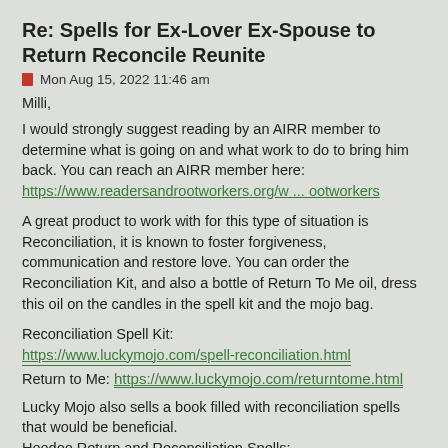Re: Spells for Ex-Lover Ex-Spouse to Return Reconcile Reunite
Mon Aug 15, 2022 11:46 am
Milli,
I would strongly suggest reading by an AIRR member to determine what is going on and what work to do to bring him back. You can reach an AIRR member here: https://www.readersandrootworkers.org/w ... ootworkers
A great product to work with for this type of situation is Reconciliation, it is known to foster forgiveness, communication and restore love. You can order the Reconciliation Kit, and also a bottle of Return To Me oil, dress this oil on the candles in the spell kit and the mojo bag.
Reconciliation Spell Kit:
https://www.luckymojo.com/spell-reconciliation.html
Return to Me: https://www.luckymojo.com/returntome.html
Lucky Mojo also sells a book filled with reconciliation spells that would be beneficial.
Hoodoo Return and Reconciliation Spells:
https://www.luckymojo.com/hoodooreturna ... pells.html